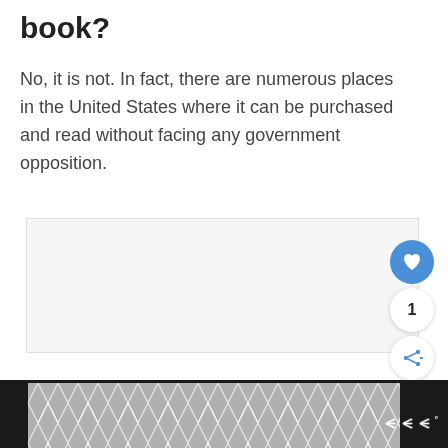book?
No, it is not. In fact, there are numerous places in the United States where it can be purchased and read without facing any government opposition.
[Figure (other): Light gray advertisement placeholder box with social interaction buttons: a blue heart/like button, a count showing '1', and a share button]
Footer with chevron-patterned image and Woo logo mark